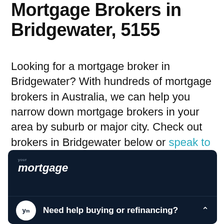Mortgage Brokers in Bridgewater, 5155
Looking for a mortgage broker in Bridgewater? With hundreds of mortgage brokers in Australia, we can help you narrow down mortgage brokers in your area by suburb or major city. Check out brokers in Bridgewater below or speak to a mortgage broker
[Figure (screenshot): A dark navy widget panel showing the 'your mortgage' logo at top left, and a bottom bar with a circular ym icon and text 'Need help buying or refinancing?' with a chevron arrow on the right]